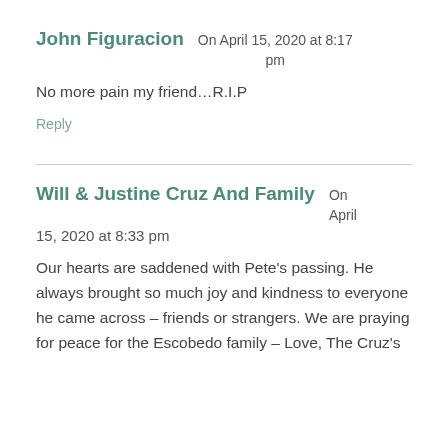John Figuracion  On April 15, 2020 at 8:17 pm
No more pain my friend…R.I.P
Reply
Will & Justine Cruz And Family  On April 15, 2020 at 8:33 pm
Our hearts are saddened with Pete's passing. He always brought so much joy and kindness to everyone he came across – friends or strangers. We are praying for peace for the Escobedo family – Love, The Cruz's